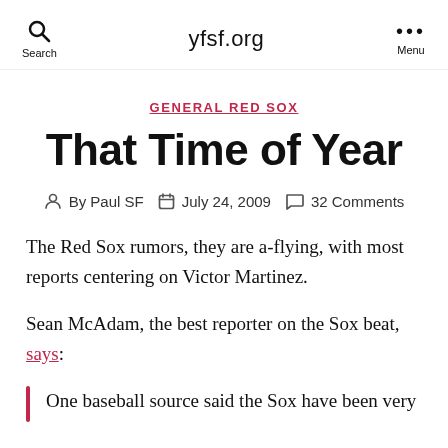yfsf.org
GENERAL RED SOX
That Time of Year
By Paul SF   July 24, 2009   32 Comments
The Red Sox rumors, they are a-flying, with most reports centering on Victor Martinez.
Sean McAdam, the best reporter on the Sox beat, says:
One baseball source said the Sox have been very